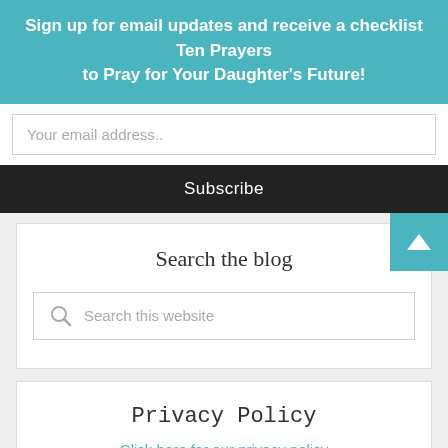Sign up for email updates and receive a checklist Ten Prayers to Pray for Your Daughter's Future!
Your email address..
Subscribe
Search the blog
Search this website
Privacy Policy
Click here for our privacy policy